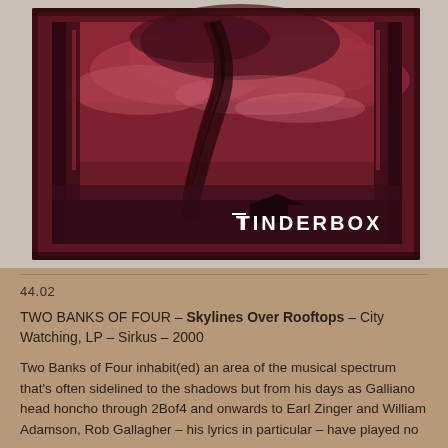[Figure (photo): Album cover photograph of 'Tinderbox' by Two Banks of Four. Dark crimson/maroon toned image showing a stormy sky with dramatic clouds and what appears to be a tree or tornado shape, viewed through a frame-like border. The word 'TINDERBOX' appears in white text at the bottom right of the image. The photo is placed on a light gray/white background.]
44.02
TWO BANKS OF FOUR – Skylines Over Rooftops – City Watching, LP – Sirkus – 2000
Two Banks of Four inhabit(ed) an area of the musical spectrum that's often sidelined to the shadows but from his days as Galliano head honcho through 2Bof4 and onwards to Earl Zinger and William Adamson, Rob Gallagher – his lyrics in particular – have played no